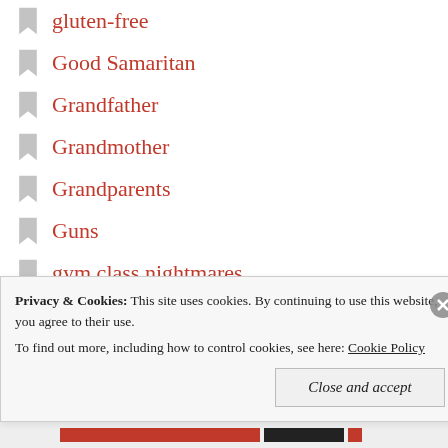gluten-free
Good Samaritan
Grandfather
Grandmother
Grandparents
Guns
gym class nightmares
Health
Healthy Products
Healthy Products – Beauty Counter
High School
History
Home
Privacy & Cookies:  This site uses cookies. By continuing to use this website, you agree to their use. To find out more, including how to control cookies, see here: Cookie Policy
Close and accept